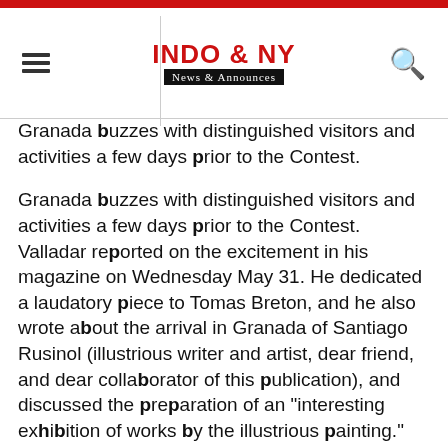INDO & NY News & Announces
Granada buzzes with distinguished visitors and activities a few days prior to the Contest.
Granada buzzes with distinguished visitors and activities a few days prior to the Contest. Valladar reported on the excitement in his magazine on Wednesday May 31. He dedicated a laudatory piece to Tomas Breton, and he also wrote about the arrival in Granada of Santiago Rusinol (illustrious writer and artist, dear friend, and dear collaborator of this publication), and discussed the preparation of an "interesting exhibition of works by the illustrious painting." He also comments on Gaspar Casado's May 24 concert, in which he performed Falla's Homage To Debussy with Jose Cubiles and Andres Sequeva. Valladar had given a wonderful critique of